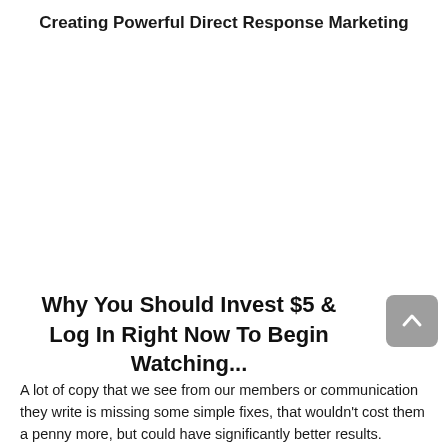Creating Powerful Direct Response Marketing
Why You Should Invest $5 & Log In Right Now To Begin Watching...
A lot of copy that we see from our members or communication they write is missing some simple fixes, that wouldn't cost them a penny more, but could have significantly better results.